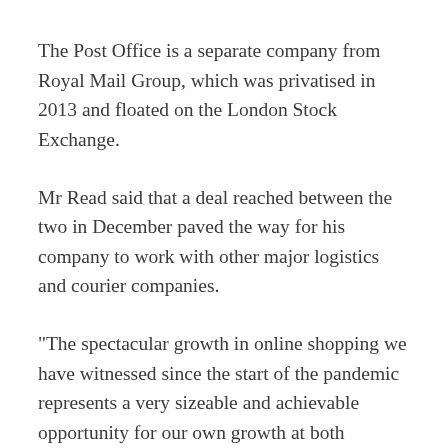The Post Office is a separate company from Royal Mail Group, which was privatised in 2013 and floated on the London Stock Exchange.
Mr Read said that a deal reached between the two in December paved the way for his company to work with other major logistics and courier companies.
“The spectacular growth in online shopping we have witnessed since the start of the pandemic represents a very sizeable and achievable opportunity for our own growth at both corporate and branch level,” he added.
The Post Office’s financial performance had, nevertheless, been adversely affected by the pandemic, Mr Read said, with earnings for last year likely to be “less than half” of